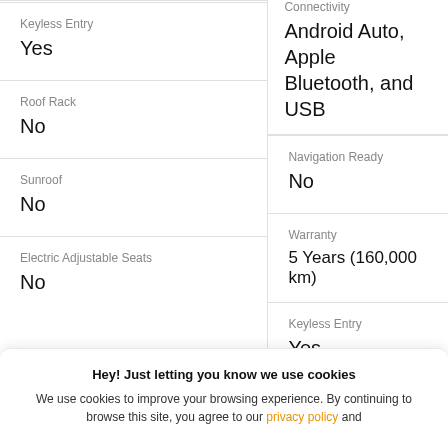Connectivity
Android Auto, Apple
Bluetooth, and USB
Keyless Entry
Yes
Navigation Ready
No
Roof Rack
No
Warranty
5 Years (160,000 km)
Sunroof
No
Keyless Entry
Yes
Electric Adjustable Seats
No
Hey! Just letting you know we use cookies
We use cookies to improve your browsing experience. By continuing to browse this site, you agree to our privacy policy and